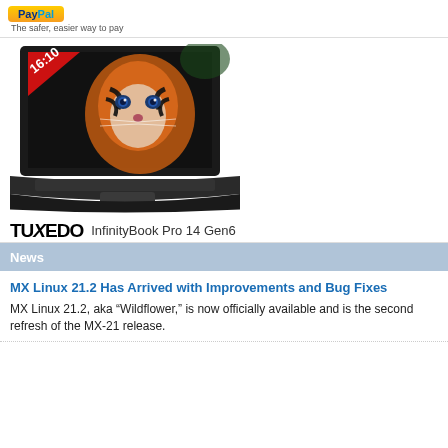PayPal - The safer, easier way to pay
[Figure (photo): TUXEDO InfinityBook Pro 14 Gen6 laptop with a tiger image on screen, labeled 16:10 aspect ratio in top-left corner of screen]
TUXEDO InfinityBook Pro 14 Gen6
News
MX Linux 21.2 Has Arrived with Improvements and Bug Fixes
MX Linux 21.2, aka “Wildflower,” is now officially available and is the second refresh of the MX-21 release.